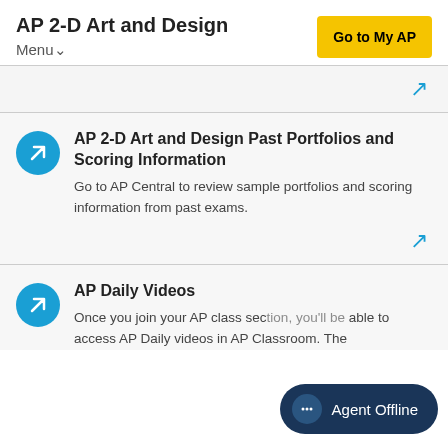AP 2-D Art and Design
Go to My AP
Menu
AP 2-D Art and Design Past Portfolios and Scoring Information
Go to AP Central to review sample portfolios and scoring information from past exams.
AP Daily Videos
Once you join your AP class section, you'll be able to access AP Daily videos in AP Classroom. The